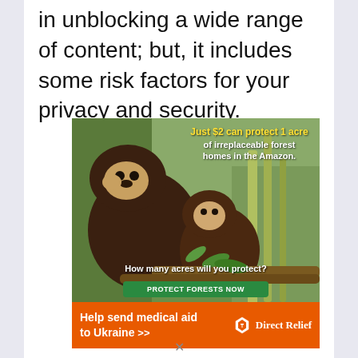in unblocking a wide range of content; but, it includes some risk factors for your privacy and security.
[Figure (photo): Advertisement showing two brown monkeys (capuchin) on bamboo branches in a forest setting. Text overlay reads: 'Just $2 can protect 1 acre of irreplaceable forest homes in the Amazon. How many acres will you protect?' with a green 'PROTECT FORESTS NOW' button.]
[Figure (infographic): Orange banner advertisement for Direct Relief charity: 'Help send medical aid to Ukraine >>' with Direct Relief logo on the right.]